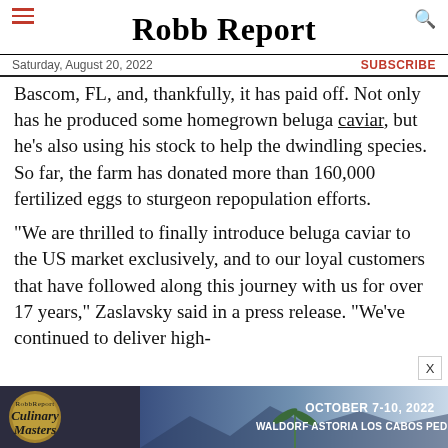Robb Report
Saturday, August 20, 2022
SUBSCRIBE
Bascom, FL, and, thankfully, it has paid off. Not only has he produced some homegrown beluga caviar, but he's also using his stock to help the dwindling species. So far, the farm has donated more than 160,000 fertilized eggs to sturgeon repopulation efforts.
“We are thrilled to finally introduce beluga caviar to the US market exclusively, and to our loyal customers that have followed along this journey with us for over 17 years,” Zaslavsky said in a press release. “We’ve continued to deliver high-
[Figure (screenshot): Advertisement banner for Robb Report Culinary Masters event, October 7-10 2022, Waldorf Astoria Los Cabos Pedregal]